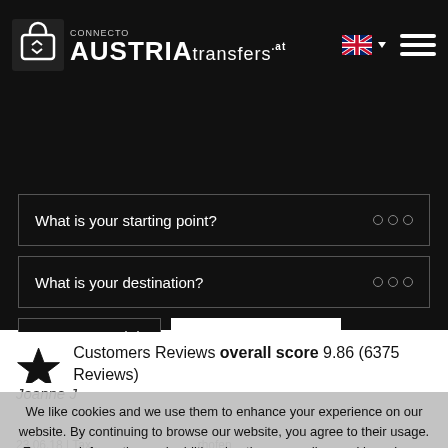[Figure (logo): CONNECTO AUSTRIAtransfers.at website header with logo, UK flag language selector, and hamburger menu on dark background]
What is your starting point?
What is your destination?
Choose date
SEE PRICES
Customers Reviews overall score 9.86 (6375 Reviews)
We like cookies and we use them to enhance your experience on our website. By continuing to browse our website, you agree to their usage. For more information and additional options regarding cookies, please refer to our Privacy Policy.
Got it!
Joanne J
23.06.18 | Tax... ...rhofen